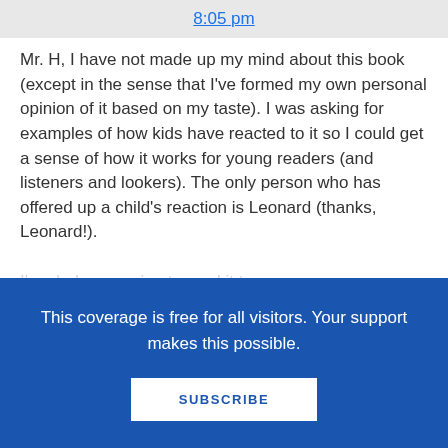8:05 pm
Mr. H, I have not made up my mind about this book (except in the sense that I've formed my own personal opinion of it based on my taste). I was asking for examples of how kids have reacted to it so I could get a sense of how it works for young readers (and listeners and lookers). The only person who has offered up a child's reaction is Leonard (thanks, Leonard!). I'm glad your going to read it to your
This coverage is free for all visitors. Your support makes this possible.
SUBSCRIBE